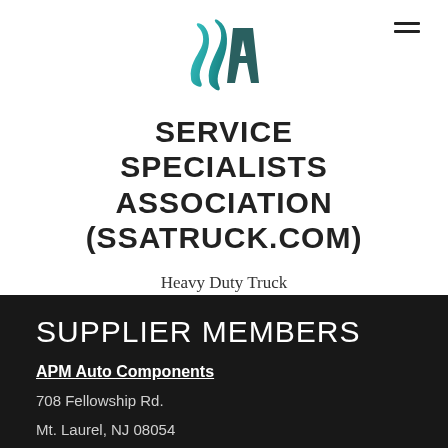[Figure (logo): SSA logo - stylized teal wave/S shape forming letters S and A]
SERVICE SPECIALISTS ASSOCIATION (SSATRUCK.COM)
Heavy Duty Truck Repair Specialists
SUPPLIER MEMBERS
APM Auto Components
708 Fellowship Rd.
Mt. Laurel, NJ 08054